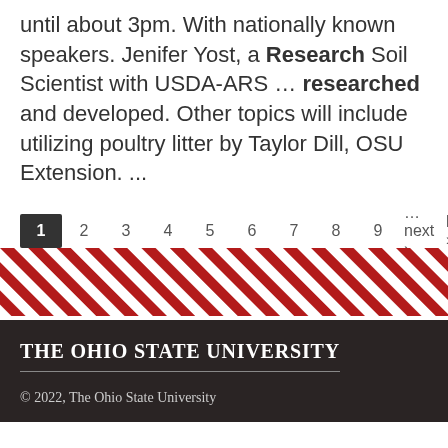until about 3pm. With nationally known speakers. Jenifer Yost, a Research Soil Scientist with USDA-ARS … researched and developed. Other topics will include utilizing poultry litter by Taylor Dill, OSU Extension. ...
1 2 3 4 5 6 7 8 9 …next › last »
[Figure (other): Diagonal red and white striped decorative bar pattern]
The Ohio State University
© 2022, The Ohio State University